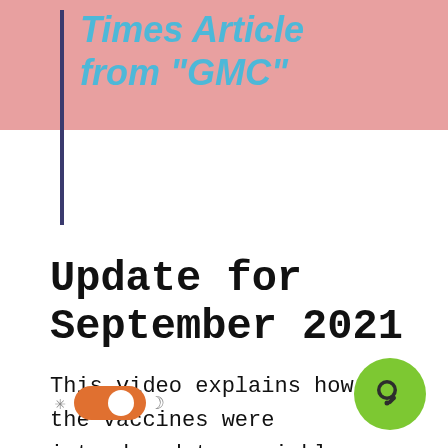Times Article from "GMC"
Update for September 2021
This video explains how the vaccines were introduced too quickly, how they are not like previous vaccines but shortcuts that are both far more dangerous to